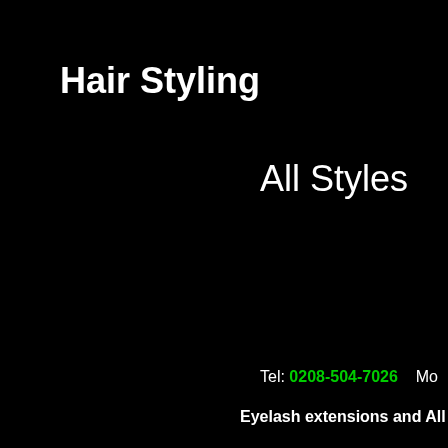Hair Styling
All Styles
Tel: 0208-504-7026  Mo
Eyelash extensions and All other Ha